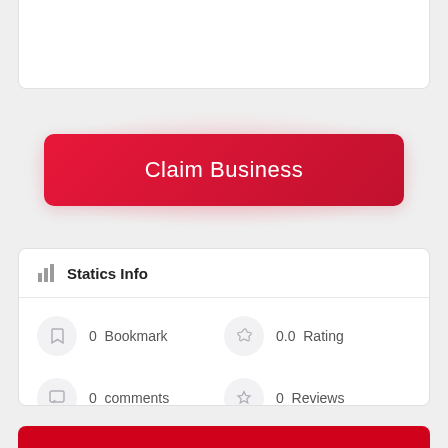Claim Business
Statics Info
0  Bookmark
0.0  Rating
0  comments
0  Reviews